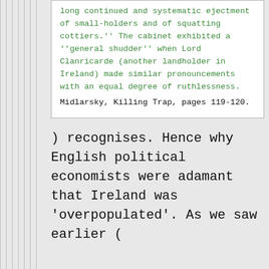long continued and systematic ejectment of small-holders and of squatting cottiers.'' The cabinet exhibited a ''general shudder'' when Lord Clanricarde (another landholder in Ireland) made similar pronouncements with an equal degree of ruthlessness.
Midlarsky, Killing Trap, pages 119-120.
) recognises. Hence why English political economists were adamant that Ireland was 'overpopulated'. As we saw earlier (